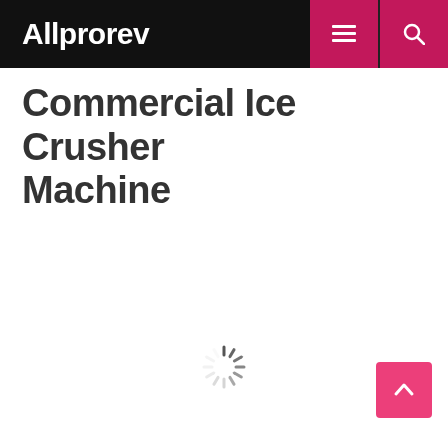Allprorev
Commercial Ice Crusher Machine
[Figure (other): Loading spinner (animated dashed circle) indicating page content is loading]
[Figure (other): Scroll-to-top button (pink/magenta square with upward chevron arrow)]